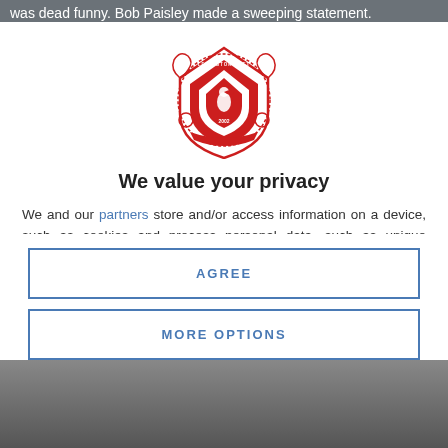was dead funny. Bob Paisley made a sweeping statement.
[Figure (logo): LFCHistory.net red crest/badge logo with pelican bird and year 2002]
We value your privacy
We and our partners store and/or access information on a device, such as cookies and process personal data, such as unique identifiers and standard information sent by a device for personalised ads and content, ad and content measurement, and audience insights, as well as to develop and improve products. With your permission we and our
AGREE
MORE OPTIONS
[Figure (photo): Bottom portion showing a partial photo of a person, grayscale]